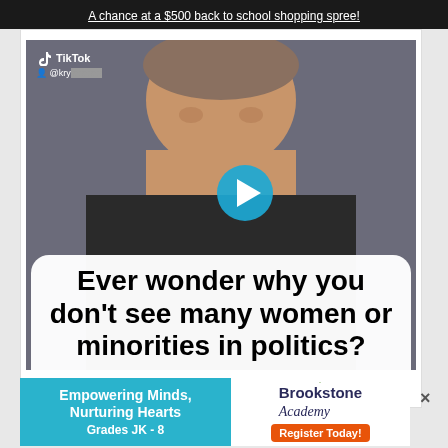A chance at a $500 back to school shopping spree!
[Figure (screenshot): TikTok video screenshot showing a person with a text overlay reading 'Ever wonder why you don't see many women or minorities in politics?' with a blue play button overlay. TikTok logo and @kry username visible.]
3:02 PM · May 16, 2022
[Figure (infographic): Brookstone Academy advertisement: blue left panel says 'Empowering Minds, Nurturing Hearts Grades JK - 8', white right panel shows tree logo with 'Brookstone Academy' text and orange 'Register Today!' button.]